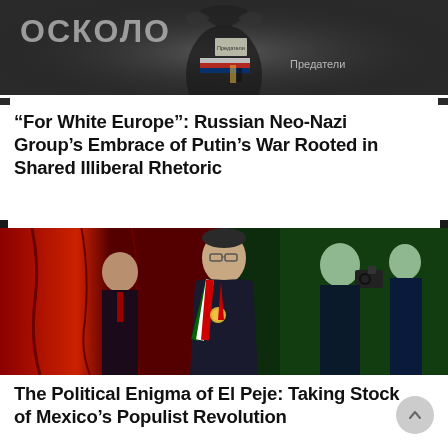[Figure (photo): A person wearing a Russian flag and protest signs with Cyrillic text including 'Осколо' and 'Предатели', with a black bird or eagle overlay, dark background]
“For White Europe”: Russian Neo-Nazi Group’s Embrace of Putin’s War Rooted in Shared Illiberal Rhetoric
[Figure (photo): A man wearing a presidential sash with green, white, and red colors (Mexican flag colors) and a medal, flanked by others including a photographer, against a red draped background with green lighting on the right side]
The Political Enigma of El Peje: Taking Stock of Mexico’s Populist Revolution